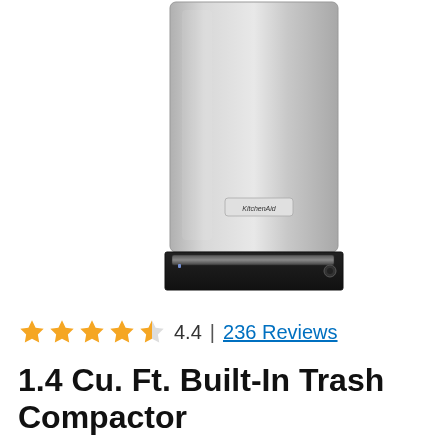[Figure (photo): KitchenAid stainless steel built-in trash compactor appliance, front view, showing silver/grey door with KitchenAid logo badge and black base with control panel]
4.4 | 236 Reviews
1.4 Cu. Ft. Built-In Trash Compactor